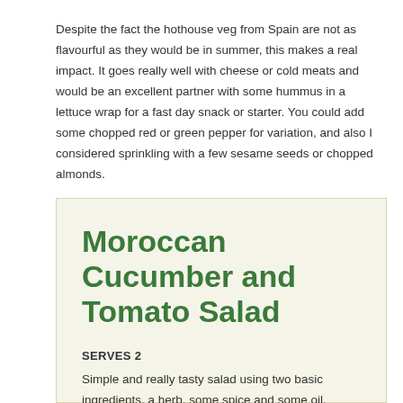Despite the fact the hothouse veg from Spain are not as flavourful as they would be in summer, this makes a real impact. It goes really well with cheese or cold meats and would be an excellent partner with some hummus in a lettuce wrap for a fast day snack or starter. You could add some chopped red or green pepper for variation, and also I considered sprinkling with a few sesame seeds or chopped almonds.
Moroccan Cucumber and Tomato Salad
SERVES 2
Simple and really tasty salad using two basic ingredients, a herb, some spice and some oil.